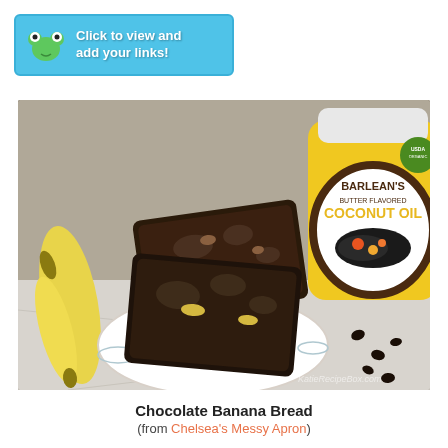[Figure (other): Banner with frog icon and text 'Click to view and add your links!' on a light blue background]
[Figure (photo): Photo of chocolate banana bread slices on a decorative plate, with bananas on the left, a jar of Barlean's Butter Flavored Coconut Oil in the background, and chocolate chips scattered on the right. Watermark reads KatieRecipeBox.com.]
Chocolate Banana Bread
(from Chelsea's Messy Apron)